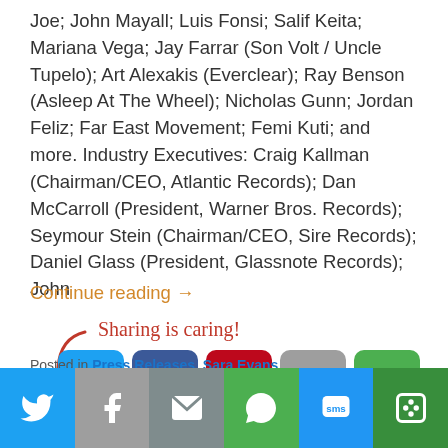Joe; John Mayall; Luis Fonsi; Salif Keita; Mariana Vega; Jay Farrar (Son Volt / Uncle Tupelo); Art Alexakis (Everclear); Ray Benson (Asleep At The Wheel); Nicholas Gunn; Jordan Feliz; Far East Movement; Femi Kuti; and more. Industry Executives: Craig Kallman (Chairman/CEO, Atlantic Records); Dan McCarroll (President, Warner Bros. Records); Seymour Stein (Chairman/CEO, Sire Records); Daniel Glass (President, Glassnote Records); John
Continue reading →
[Figure (infographic): Sharing is caring! graphic with arrow and social share buttons: Twitter (blue), Facebook (dark blue), Pinterest (red), Email (grey), More (green)]
Posted in Press Releases, Sara Evans
[Figure (infographic): Bottom social share bar with Twitter (blue), Facebook (grey), Email (grey), WhatsApp (green), SMS (blue), More (dark green) buttons]